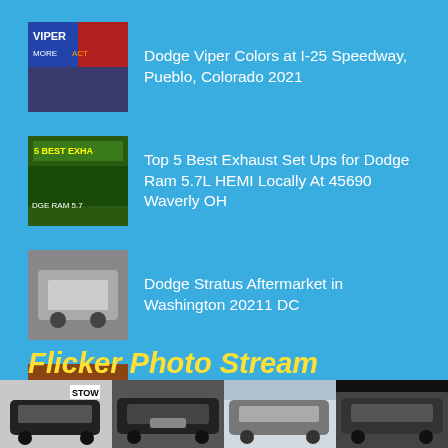Dodge Viper Colors at I-25 Speedway, Pueblo, Colorado 2021
Top 5 Best Exhaust Set Ups for Dodge Ram 5.7L HEMI Locally At 45690 Waverly OH
Dodge Stratus Aftermarket in Washington 20211 DC
Dodge Caliber Oil Change in Leander 78641 TX USA
Flicker Photo Stream
[Figure (photo): Four car thumbnail photos in a horizontal strip at the bottom of the page]